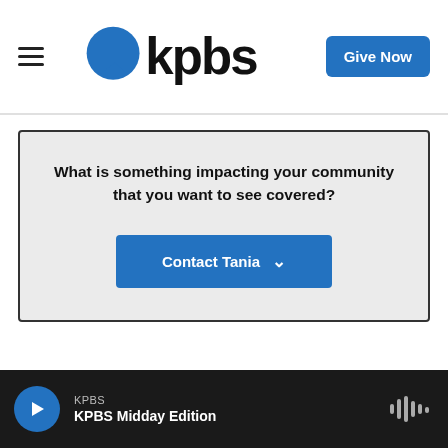KPBS — Give Now
What is something impacting your community that you want to see covered?
Contact Tania
KPBS | KPBS Midday Edition